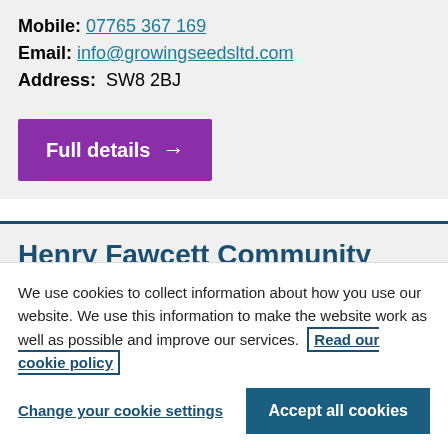Mobile: 07765 367 169
Email: info@growingseedsltd.com
Address: SW8 2BJ
[Figure (other): Purple button labeled 'Full details' with a right arrow]
Henry Fawcett Community
We use cookies to collect information about how you use our website. We use this information to make the website work as well as possible and improve our services. Read our cookie policy
Change your cookie settings
Accept all cookies